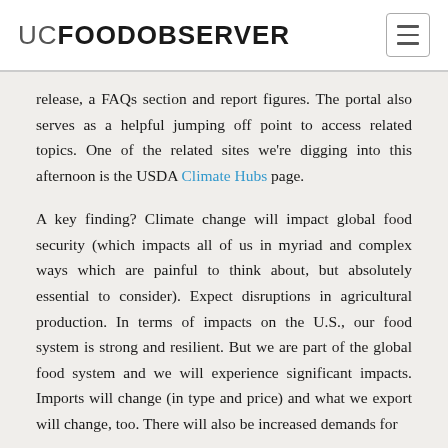UC FOOD OBSERVER
release, a FAQs section and report figures. The portal also serves as a helpful jumping off point to access related topics. One of the related sites we're digging into this afternoon is the USDA Climate Hubs page.
A key finding? Climate change will impact global food security (which impacts all of us in myriad and complex ways which are painful to think about, but absolutely essential to consider). Expect disruptions in agricultural production. In terms of impacts on the U.S., our food system is strong and resilient. But we are part of the global food system and we will experience significant impacts. Imports will change (in type and price) and what we export will change, too. There will also be increased demands for